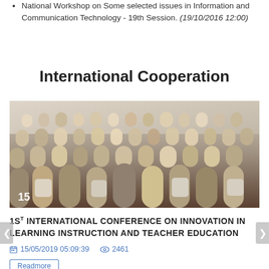National Workshop on Some selected issues in Information and Communication Technology - 19th Session. (19/10/2016 12:00)
International Cooperation
[Figure (photo): A large conference audience of diverse attendees seated in rows, with the number 15 visible in the lower left corner.]
1ST INTERNATIONAL CONFERENCE ON INNOVATION IN LEARNING INSTRUCTION AND TEACHER EDUCATION
15/05/2019 05:09:39   2461
Readmore